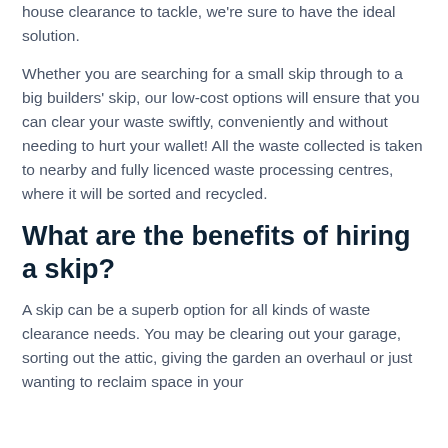house clearance to tackle, we're sure to have the ideal solution.
Whether you are searching for a small skip through to a big builders' skip, our low-cost options will ensure that you can clear your waste swiftly, conveniently and without needing to hurt your wallet! All the waste collected is taken to nearby and fully licenced waste processing centres, where it will be sorted and recycled.
What are the benefits of hiring a skip?
A skip can be a superb option for all kinds of waste clearance needs. You may be clearing out your garage, sorting out the attic, giving the garden an overhaul or just wanting to reclaim space in your